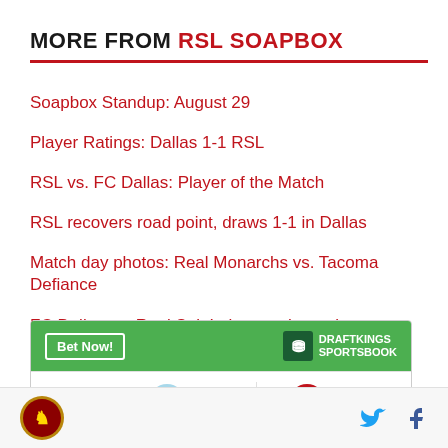MORE FROM RSL SOAPBOX
Soapbox Standup: August 29
Player Ratings: Dallas 1-1 RSL
RSL vs. FC Dallas: Player of the Match
RSL recovers road point, draws 1-1 in Dallas
Match day photos: Real Monarchs vs. Tacoma Defiance
FC Dallas vs. Real Salt Lake match preview
[Figure (infographic): DraftKings Sportsbook bet widget showing Thu 1:30a matchup between MIN and RSL]
RSL Soapbox logo, Twitter and Facebook share icons